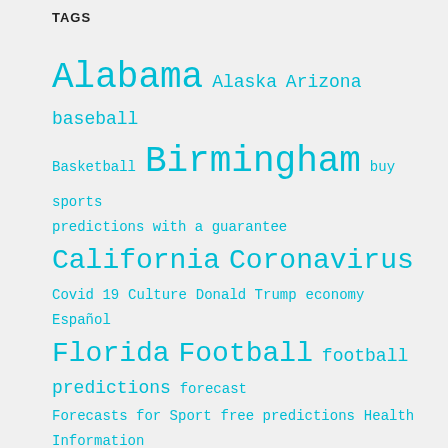TAGS
[Figure (infographic): Tag cloud with various topics in teal/cyan color at varying font sizes. Tags include: Alabama, Alaska, Arizona, baseball, Basketball, Birmingham, buy sports predictions with a guarantee, California, Coronavirus, Covid 19, Culture, Donald Trump, economy, Español, Florida, Football, football predictions, forecast, Forecasts for Sport, free predictions, Health, Information, international, joe biden, livescore, Montgomery, news, newspaper, NFL, politics, Replay, results, soccer, society, sport, sports, sports betting, statistics, TV, U.S, United States, USA, Video, world, 뉴스]